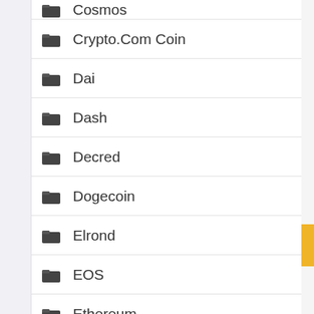Cosmos
Crypto.Com Coin
Dai
Dash
Decred
Dogecoin
Elrond
EOS
Ethereum
Filecoin
FTX Token
Hedera Hashgraph
Holo
Huobi Token